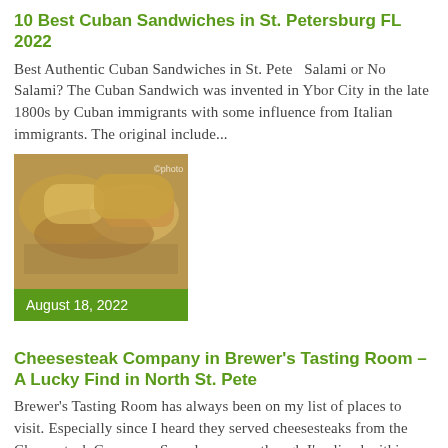10 Best Cuban Sandwiches in St. Petersburg FL 2022
Best Authentic Cuban Sandwiches in St. Pete   Salami or No Salami? The Cuban Sandwich was invented in Ybor City in the late 1800s by Cuban immigrants with some influence from Italian immigrants. The original include…
[Figure (photo): Photo of Cuban sandwiches on a plate with a date overlay reading August 18, 2022]
August 18, 2022
Cheesesteak Company in Brewer's Tasting Room – A Lucky Find in North St. Pete
Brewer's Tasting Room has always been on my list of places to visit. Especially since I heard they served cheesesteaks from the Cheesesteak Company. Somehow, even though I've lived within two miles of the place fo…
[Figure (photo): Photo of a cheesesteak dish in a bowl with toppings]